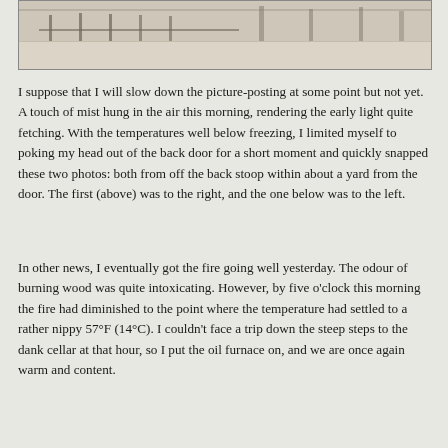[Figure (photo): Partial view of a wintry outdoor scene, cropped at the top of the page showing a snowy or misty ground and dark fence/trees in background.]
I suppose that I will slow down the picture-posting at some point but not yet. A touch of mist hung in the air this morning, rendering the early light quite fetching. With the temperatures well below freezing, I limited myself to poking my head out of the back door for a short moment and quickly snapped these two photos: both from off the back stoop within about a yard from the door. The first (above) was to the right, and the one below was to the left.
In other news, I eventually got the fire going well yesterday. The odour of burning wood was quite intoxicating. However, by five o'clock this morning the fire had diminished to the point where the temperature had settled to a rather nippy 57°F (14°C). I couldn't face a trip down the steep steps to the dank cellar at that hour, so I put the oil furnace on, and we are once again warm and content.